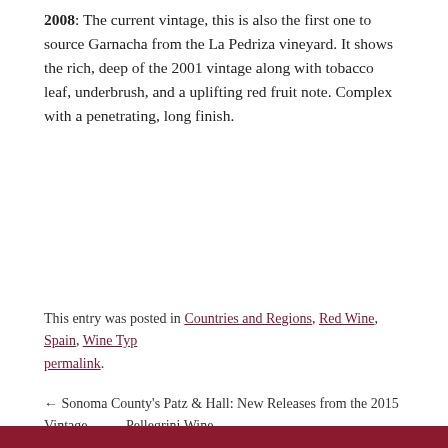2008: The current vintage, this is also the first one to source Garnacha from the La Pedriza vineyard. It shows the rich, deep of the 2001 vintage along with tobacco leaf, underbrush, and a uplifting red fruit note. Complex with a penetrating, long finish.
This entry was posted in Countries and Regions, Red Wine, Spain, Wine Typ permalink.
← Sonoma County's Patz & Hall: New Releases from the 2015 Vintage   Pellegrini Wine
i-WineReview Articles